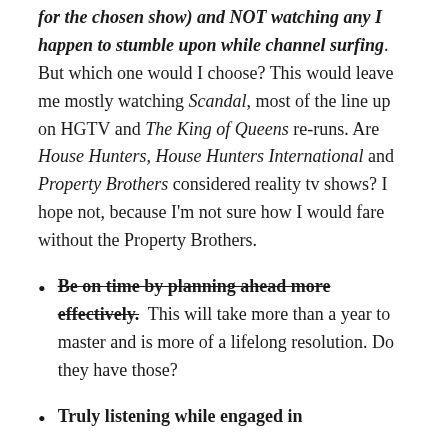for the chosen show) and NOT watching any I happen to stumble upon while channel surfing. But which one would I choose? This would leave me mostly watching Scandal, most of the line up on HGTV and The King of Queens re-runs. Are House Hunters, House Hunters International and Property Brothers considered reality tv shows? I hope not, because I'm not sure how I would fare without the Property Brothers.
Be on time by planning ahead more effectively. This will take more than a year to master and is more of a lifelong resolution. Do they have those?
Truly listening while engaged in